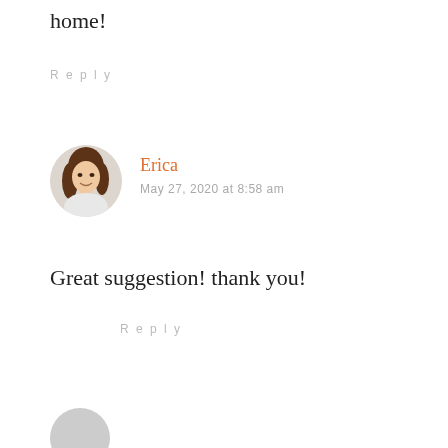home!
Reply
[Figure (photo): Circular avatar photo of a woman with brown hair, smiling, wearing a white top]
Erica
May 27, 2020 at 8:58 am
Great suggestion! thank you!
Reply